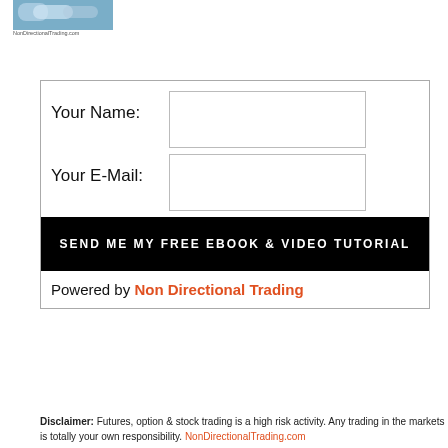[Figure (illustration): Logo image at top left, partial blue/cloud-style image with caption text below it]
Your Name:
Your E-Mail:
SEND ME MY FREE EBOOK & VIDEO TUTORIAL
Powered by Non Directional Trading
Disclaimer: Futures, option & stock trading is a high risk activity. Any trading in the markets is totally your own responsibility. NonDirectionalTrading.com